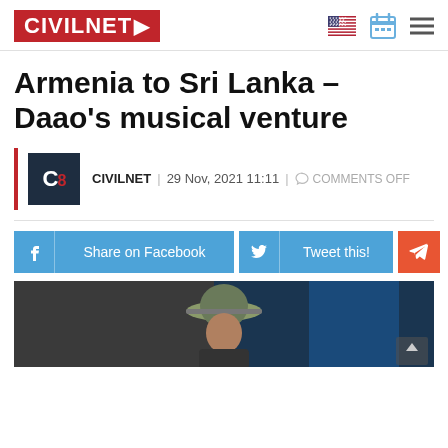CIVILNET
Armenia to Sri Lanka – Daao's musical venture
CIVILNET | 29 Nov, 2021 11:11 | COMMENTS OFF
Share on Facebook | Tweet this!
[Figure (photo): Person wearing a khaki hat, photographed outdoors]